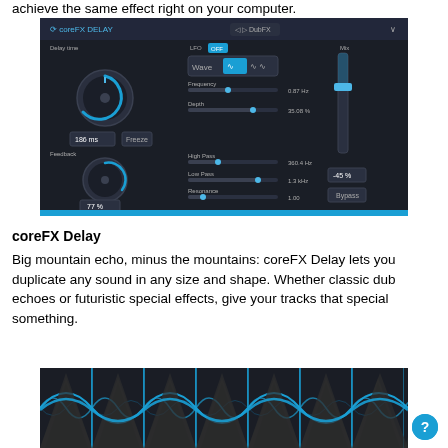achieve the same effect right on your computer.
[Figure (screenshot): Screenshot of coreFX Delay plugin interface showing Delay time knob, LFO settings, Mix slider, Feedback knob, High Pass, Low Pass, Resonance controls on a dark background with blue accent color.]
coreFX Delay
Big mountain echo, minus the mountains: coreFX Delay lets you duplicate any sound in any size and shape. Whether classic dub echoes or futuristic special effects, give your tracks that special something.
[Figure (screenshot): Screenshot showing audio waveform visualization with blue and dark pattern, repeating segments visible.]